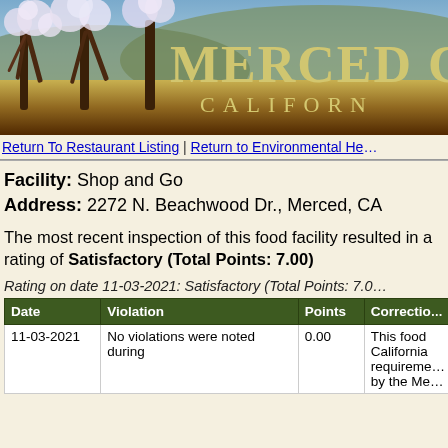[Figure (photo): Merced County California header banner with blooming trees and green hills landscape]
Return To Restaurant Listing | Return to Environmental He...
Facility: Shop and Go
Address: 2272 N. Beachwood Dr., Merced, CA
The most recent inspection of this food facility resulted in a rating of Satisfactory (Total Points: 7.00)
Rating on date 11-03-2021: Satisfactory (Total Points: 7.0...
| Date | Violation | Points | Correction |
| --- | --- | --- | --- |
| 11-03-2021 | No violations were noted during | 0.00 | This food facility meets California requirements by the Me... |